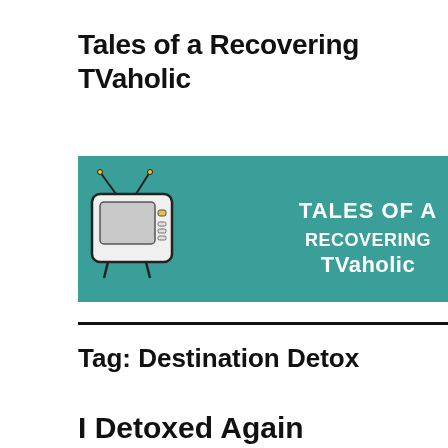Tales of a Recovering TVaholic
MENU
[Figure (illustration): Banner image with teal background showing a retro TV set illustration on the left and white text reading 'Tales of a Recovering TVaholic' on the right]
Tag: Destination Detox
I Detoxed Again